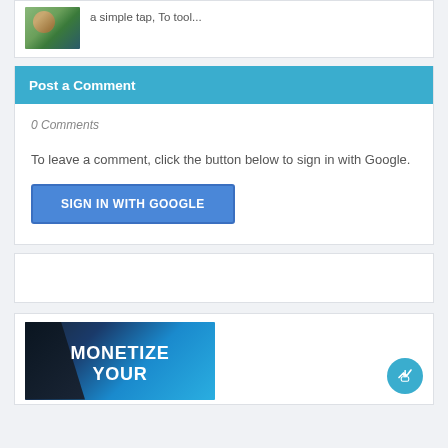a simple tap, To tool...
Post a Comment
0 Comments
To leave a comment, click the button below to sign in with Google.
SIGN IN WITH GOOGLE
[Figure (photo): MONETIZE YOUR banner image with blue background]
[Figure (other): Floating action button with cursor/hand icon]